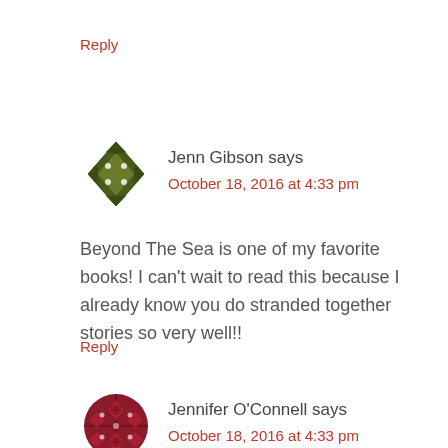Reply
[Figure (illustration): Dark olive green geometric/abstract avatar icon for Jenn Gibson]
Jenn Gibson says
October 18, 2016 at 4:33 pm
Beyond The Sea is one of my favorite books! I can't wait to read this because I already know you do stranded together stories so very well!!
Reply
[Figure (illustration): Dark maroon/burgundy geometric/abstract avatar icon for Jennifer O'Connell]
Jennifer O'Connell says
October 18, 2016 at 4:33 pm